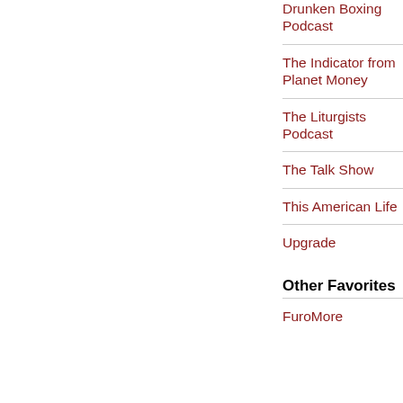Drunken Boxing Podcast
The Indicator from Planet Money
The Liturgists Podcast
The Talk Show
This American Life
Upgrade
Other Favorites
FuroMore